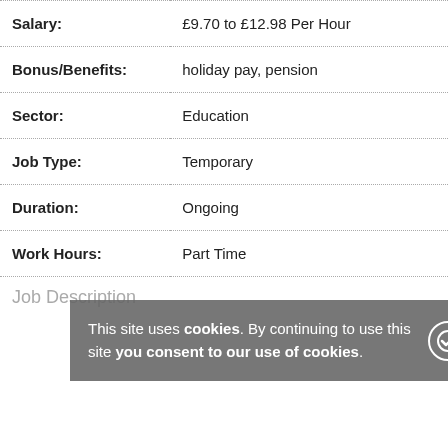| Salary: | £9.70 to £12.98 Per Hour |
| Bonus/Benefits: | holiday pay, pension |
| Sector: | Education |
| Job Type: | Temporary |
| Duration: | Ongoing |
| Work Hours: | Part Time |
Job Description
This site uses cookies. By continuing to use this site you consent to our use of cookies.